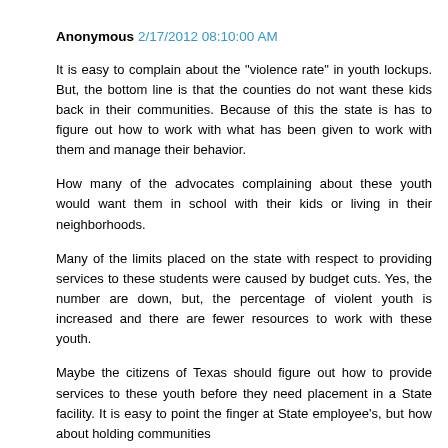Anonymous 2/17/2012 08:10:00 AM
It is easy to complain about the "violence rate" in youth lockups. But, the bottom line is that the counties do not want these kids back in their communities. Because of this the state is has to figure out how to work with what has been given to work with them and manage their behavior.
How many of the advocates complaining about these youth would want them in school with their kids or living in their neighborhoods.
Many of the limits placed on the state with respect to providing services to these students were caused by budget cuts. Yes, the number are down, but, the percentage of violent youth is increased and there are fewer resources to work with these youth.
Maybe the citizens of Texas should figure out how to provide services to these youth before they need placement in a State facility. It is easy to point the finger at State employee's, but how about holding communities